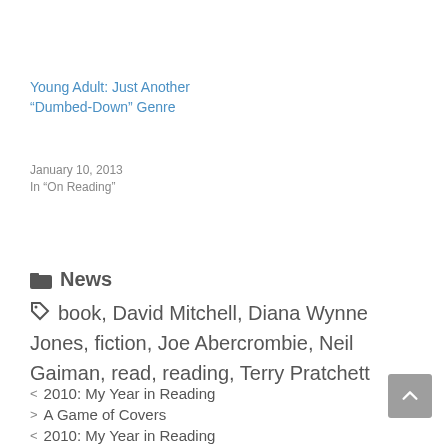Young Adult: Just Another “Dumbed-Down” Genre
January 10, 2013
In “On Reading”
📁 News
book, David Mitchell, Diana Wynne Jones, fiction, Joe Abercrombie, Neil Gaiman, read, reading, Terry Pratchett
< 2010: My Year in Reading
> A Game of Covers
< 2010: My Year in Reading